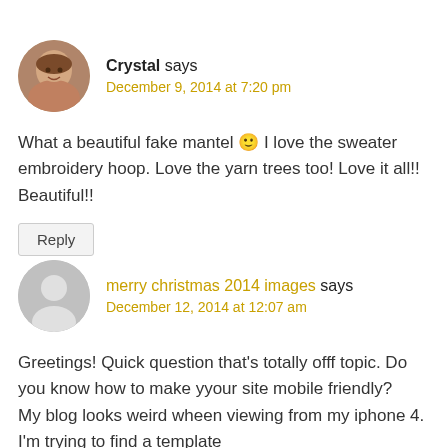[Figure (photo): Circular avatar photo of a smiling woman named Crystal]
Crystal says
December 9, 2014 at 7:20 pm
What a beautiful fake mantel 🙂 I love the sweater embroidery hoop. Love the yarn trees too! Love it all!! Beautiful!!
Reply
[Figure (illustration): Generic grey circular avatar icon for merry christmas 2014 images]
merry christmas 2014 images says
December 12, 2014 at 12:07 am
Greetings! Quick question that's totally offf topic. Do you know how to make yyour site mobile friendly?
My blog looks weird wheen viewing from my iphone 4. I'm trying to find a template